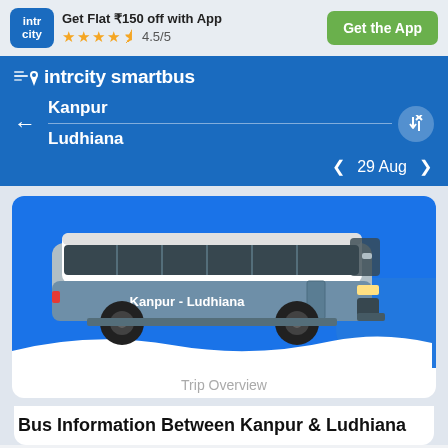[Figure (logo): IntrCity logo - blue rounded square with 'intr' and 'city' text in white]
Get Flat ₹150 off with App
★★★★½ 4.5/5
Get the App
[Figure (logo): IntrCity SmartBus brand logo with speed lines and location pin icon]
Kanpur
Ludhiana
< 29 Aug >
[Figure (illustration): Illustration of a blue and white intercity bus with 'Kanpur - Ludhiana' text on the side, on a blue background with wave shape]
Trip Overview
Bus Information Between Kanpur & Ludhiana